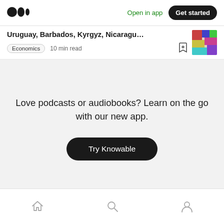Medium logo | Open in app | Get started
Uruguay, Barbados, Kyrgyz, Nicaragua,...
Economics  10 min read
Love podcasts or audiobooks? Learn on the go with our new app.
Try Knowable
Home | Search | Profile